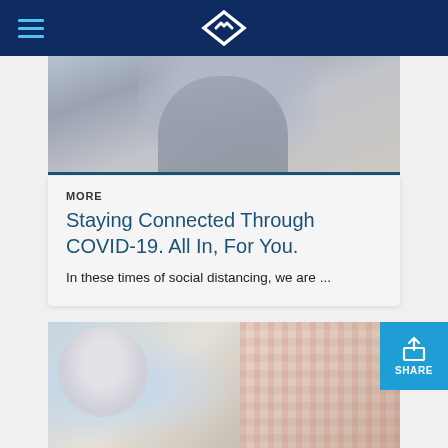Navigation header with logo and hamburger menu
[Figure (photo): Partial photo of a person in a grey blazer, cropped at shoulders, blurred background]
MORE
Staying Connected Through COVID-19. All In, For You.
In these times of social distancing, we are ...
[Figure (photo): Photo of an elderly woman with white hair smiling and waving at the door, with another person in a plaid shirt in the foreground]
[Figure (other): Blue Share button with upload/share icon and label SHARE]